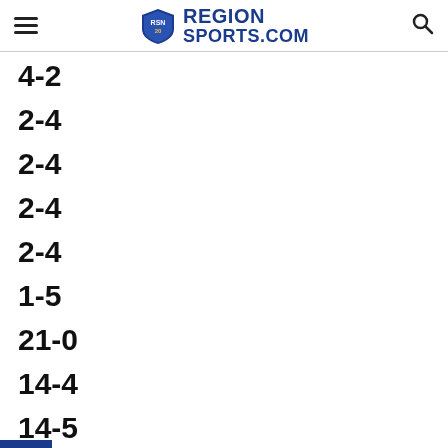RegionSports.Com
4-2
2-4
2-4
2-4
2-4
1-5
21-0
14-4
14-5
-9